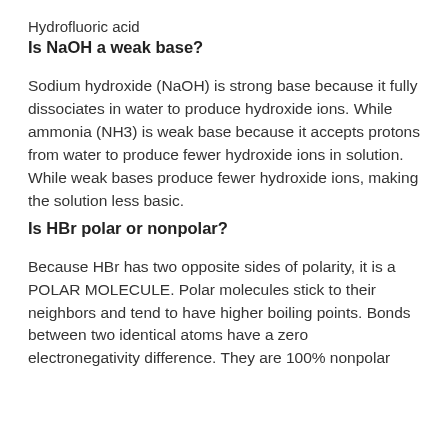Hydrofluoric acid
Is NaOH a weak base?
Sodium hydroxide (NaOH) is strong base because it fully dissociates in water to produce hydroxide ions. While ammonia (NH3) is weak base because it accepts protons from water to produce fewer hydroxide ions in solution. While weak bases produce fewer hydroxide ions, making the solution less basic.
Is HBr polar or nonpolar?
Because HBr has two opposite sides of polarity, it is a POLAR MOLECULE. Polar molecules stick to their neighbors and tend to have higher boiling points. Bonds between two identical atoms have a zero electronegativity difference. They are 100% nonpolar covalent.